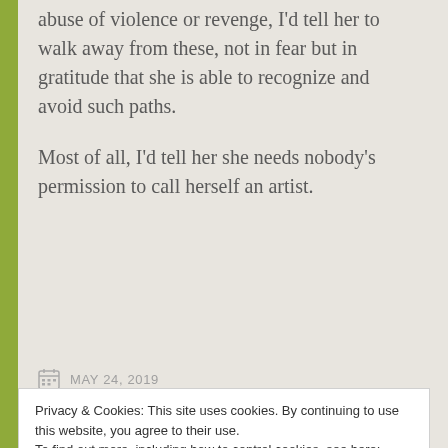abuse of violence or revenge, I'd tell her to walk away from these, not in fear but in gratitude that she is able to recognize and avoid such paths.
Most of all, I'd tell her she needs nobody's permission to call herself an artist.
MAY 24, 2019
Privacy & Cookies: This site uses cookies. By continuing to use this website, you agree to their use.
To find out more, including how to control cookies, see here: Cookie Policy
Close and accept